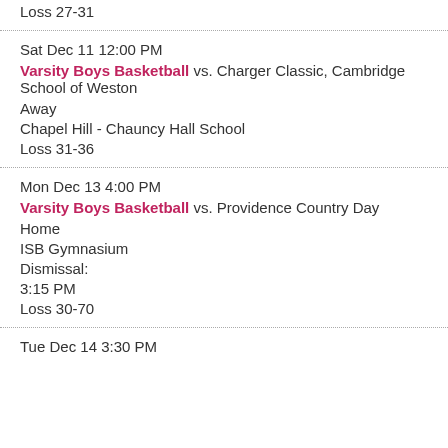Loss 27-31
Sat Dec 11 12:00 PM
Varsity Boys Basketball vs. Charger Classic, Cambridge School of Weston
Away
Chapel Hill - Chauncy Hall School
Loss 31-36
Mon Dec 13 4:00 PM
Varsity Boys Basketball vs. Providence Country Day
Home
ISB Gymnasium
Dismissal:
3:15 PM
Loss 30-70
Tue Dec 14 3:30 PM